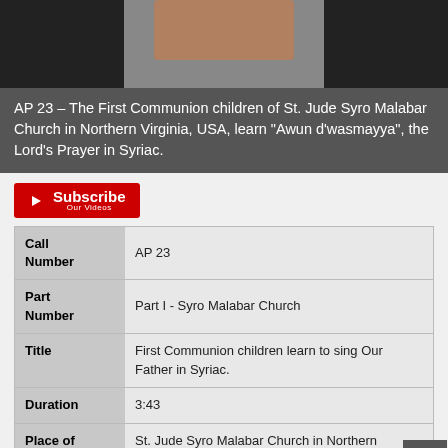[Figure (photo): Dark screenshot showing a partial image at the top of a webpage, with a skin-toned area visible against black background]
AP 23 – The First Communion children of St. Jude Syro Malabar Church in Northern Virginia, USA, learn "Awun d'wasmayya", the Lord's Prayer in Syriac.
[Figure (logo): YouTube Subscribe button in red with white play icon and text 'Subscribe Our Videos']
| Field | Value |
| --- | --- |
| Call Number | AP 23 |
| Part Number | Part I - Syro Malabar Church |
| Title | First Communion children learn to sing Our Father in Syriac. |
| Duration | 3:43 |
| Place of Recording | St. Jude Syro Malabar Church in Northern Virginia, USA |